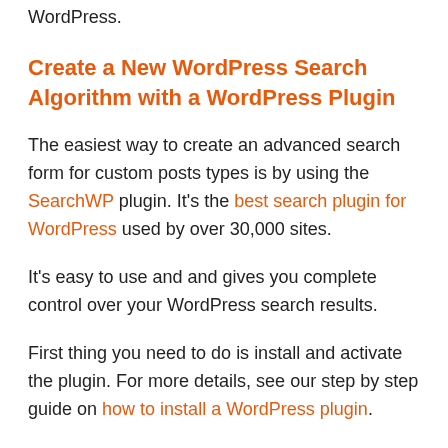WordPress.
Create a New WordPress Search Algorithm with a WordPress Plugin
The easiest way to create an advanced search form for custom posts types is by using the SearchWP plugin. It's the best search plugin for WordPress used by over 30,000 sites.
It's easy to use and and gives you complete control over your WordPress search results.
First thing you need to do is install and activate the plugin. For more details, see our step by step guide on how to install a WordPress plugin.
Upon activation, you need to go to Settings »